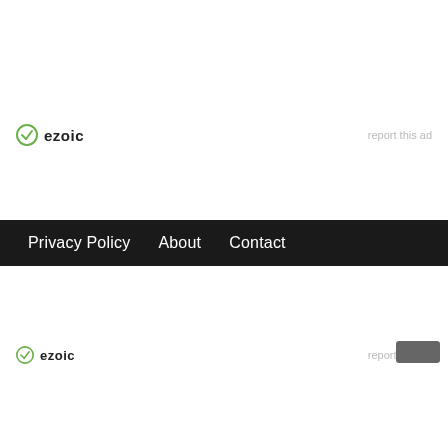[Figure (logo): Ezoic logo with green circle checkmark icon and 'ezoic' text in dark]
report this ad
Privacy Policy   About   Contact
[Figure (logo): Ezoic logo with green circle checkmark icon and 'ezoic' text in dark]
report this ad